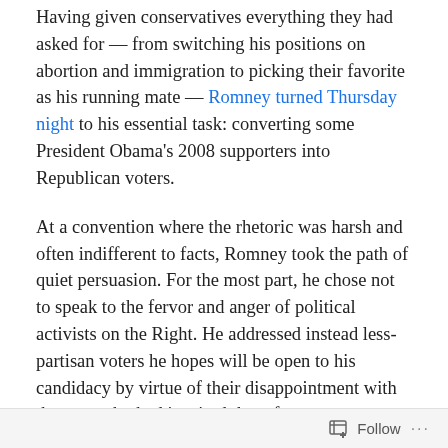Having given conservatives everything they had asked for — from switching his positions on abortion and immigration to picking their favorite as his running mate — Romney turned Thursday night to his essential task: converting some President Obama's 2008 supporters into Republican voters.
At a convention where the rhetoric was harsh and often indifferent to facts, Romney took the path of quiet persuasion. For the most part, he chose not to speak to the fervor and anger of political activists on the Right. He addressed instead less-partisan voters he hopes will be open to his candidacy by virtue of their disappointment with the man who had inspired them four years ago.
“Hope and change had a powerful appeal,” Romney said
Follow ...